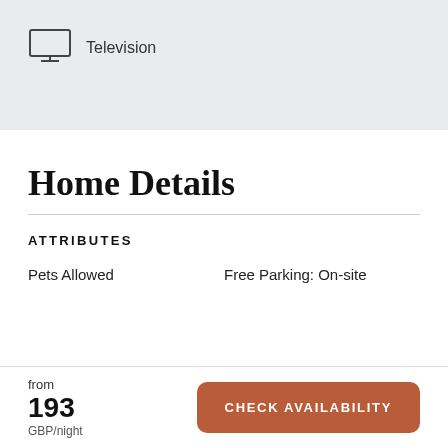[Figure (illustration): Television/monitor icon with stand]
Television
Home Details
ATTRIBUTES
Pets Allowed
Free Parking: On-site
from
193
GBP/night
CHECK AVAILABILITY